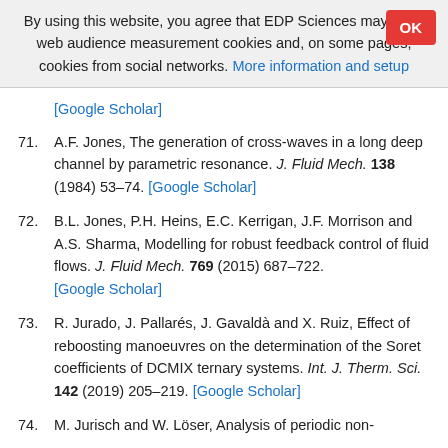By using this website, you agree that EDP Sciences may store web audience measurement cookies and, on some pages, cookies from social networks. More information and setup
[Google Scholar]
71. A.F. Jones, The generation of cross-waves in a long deep channel by parametric resonance. J. Fluid Mech. 138 (1984) 53–74. [Google Scholar]
72. B.L. Jones, P.H. Heins, E.C. Kerrigan, J.F. Morrison and A.S. Sharma, Modelling for robust feedback control of fluid flows. J. Fluid Mech. 769 (2015) 687–722. [Google Scholar]
73. R. Jurado, J. Pallarés, J. Gavaldà and X. Ruiz, Effect of reboosting manoeuvres on the determination of the Soret coefficients of DCMIX ternary systems. Int. J. Therm. Sci. 142 (2019) 205–219. [Google Scholar]
74. M. Jurisch and W. Löser, Analysis of periodic non-